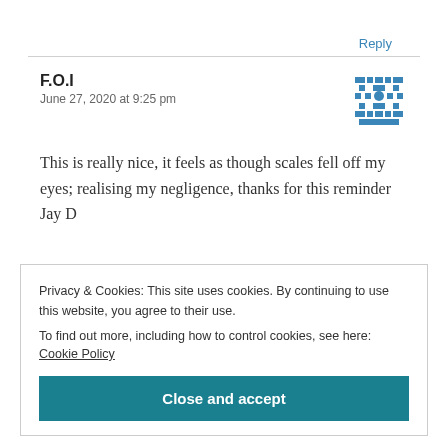Reply
F.O.I
June 27, 2020 at 9:25 pm
This is really nice, it feels as though scales fell off my eyes; realising my negligence, thanks for this reminder Jay D
Privacy & Cookies: This site uses cookies. By continuing to use this website, you agree to their use.
To find out more, including how to control cookies, see here: Cookie Policy
Close and accept